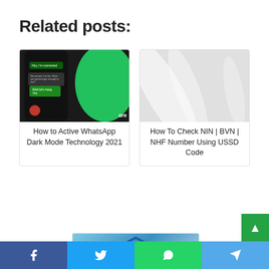Related posts:
[Figure (photo): WhatsApp dark mode screenshot showing chat messages on a dark phone screen with a green WhatsApp logo bubble on the right]
How to Active WhatsApp Dark Mode Technology 2021
[Figure (photo): Grey placeholder image with white diagonal swoosh patterns]
How To Check NIN | BVN | NHF Number Using USSD Code
[Figure (photo): Blue hexagonal shield graphic on a blue background]
Facebook | Twitter | WhatsApp | Telegram social share buttons